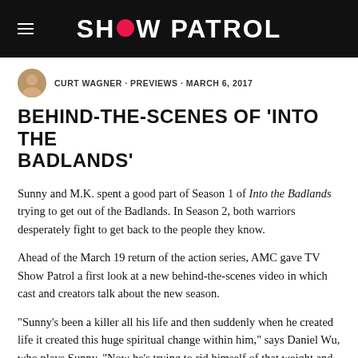SHOW PATROL
CURT WAGNER · PREVIEWS · MARCH 6, 2017
BEHIND-THE-SCENES OF 'INTO THE BADLANDS'
Sunny and M.K. spent a good part of Season 1 of Into the Badlands trying to get out of the Badlands. In Season 2, both warriors desperately fight to get back to the people they know.
Ahead of the March 19 return of the action series, AMC gave TV Show Patrol a first look at a new behind-the-scenes video in which cast and creators talk about the new season.
“Sunny’s been a killer all his life and then suddenly when he created life it created this huge spiritual change within him,” says Daniel Wu, who plays Sunny. “Now he’s trying to rid himself of that weight and get back to his family and become a normal person if he can.”